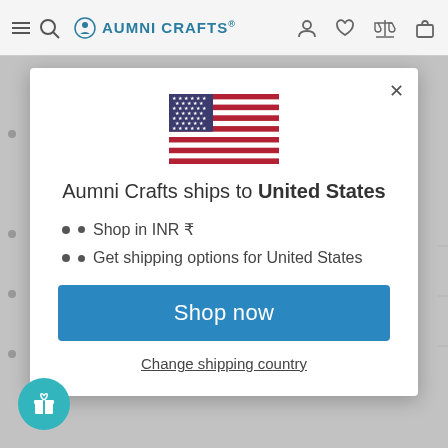AUMNI CRAFTS
[Figure (screenshot): Modal dialog on Aumni Crafts e-commerce website showing US flag, shipping info for United States, and Shop now button]
Aumni Crafts ships to United States
Shop in INR ₹
Get shipping options for United States
Shop now
Change shipping country